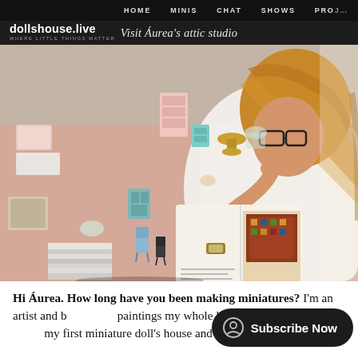HOME  MINIS  CHAT  SHOWS  PROJ…
[Figure (logo): dollshouse.live logo with tagline 'WHERE LITTLE THINGS MATTER']
Visit Áurea's attic studio
[Figure (photo): Woman with glasses and long wavy hair wearing a white shirt, sitting at a pink table covered with miniature dollhouse furniture and accessories, looking at a book with colorful illustrations. Miniature chairs, shelves, and tiny objects are spread across the table.]
Hi Áurea. How long have you been making miniatures? I'm an artist and b… paintings my whole life. Sever… my first miniature doll's house and I thought it would